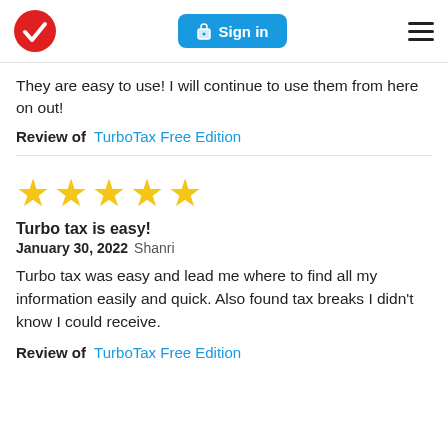TurboTax logo | Sign in | Menu
They are easy to use! I will continue to use them from here on out!
Review of  TurboTax Free Edition
[Figure (other): 5 gold stars rating]
Turbo tax is easy!
January 30, 2022 Shanri
Turbo tax was easy and lead me where to find all my information easily and quick. Also found tax breaks I didn't know I could receive.
Review of  TurboTax Free Edition